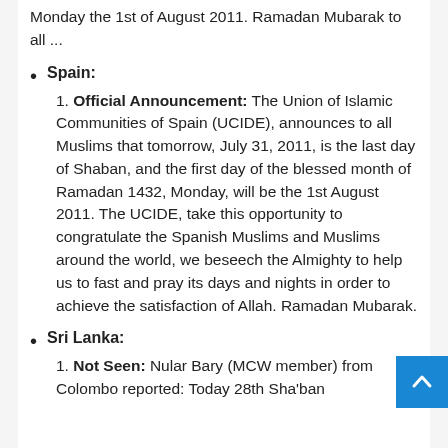Monday the 1st of August 2011. Ramadan Mubarak to all ...
Spain:
1. Official Announcement: The Union of Islamic Communities of Spain (UCIDE), announces to all Muslims that tomorrow, July 31, 2011, is the last day of Shaban, and the first day of the blessed month of Ramadan 1432, Monday, will be the 1st August 2011. The UCIDE, take this opportunity to congratulate the Spanish Muslims and Muslims around the world, we beseech the Almighty to help us to fast and pray its days and nights in order to achieve the satisfaction of Allah. Ramadan Mubarak.
Sri Lanka:
1. Not Seen: Nular Bary (MCW member) from Colombo reported: Today 28th Sha'ban